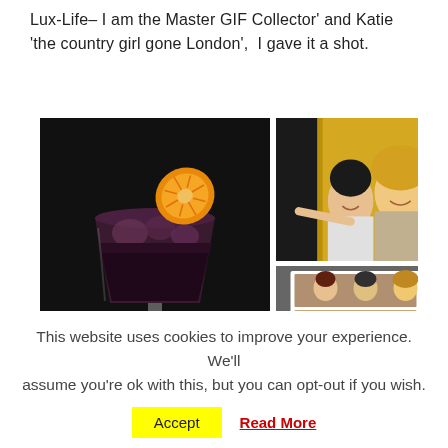Lux-Life– I am the Master GIF Collector' and Katie 'the country girl gone London',  I gave it a shot.
[Figure (photo): Left: a dark cocktail in a glass with ice and a dried orange slice garnish on a dark background. Top right: two women smiling inside a golden photo booth. Bottom right: photo booth strip showing three women.]
This website uses cookies to improve your experience. We'll assume you're ok with this, but you can opt-out if you wish.